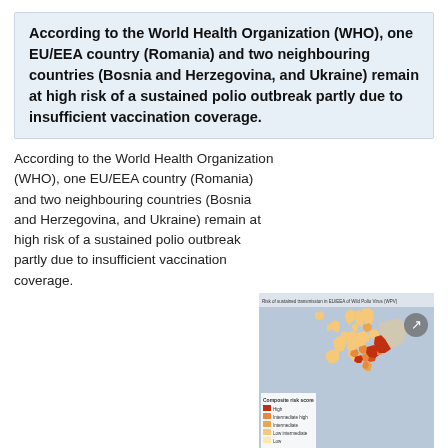According to the World Health Organization (WHO), one EU/EEA country (Romania) and two neighbouring countries (Bosnia and Herzegovina, and Ukraine) remain at high risk of a sustained polio outbreak partly due to insufficient vaccination coverage.
According to the World Health Organization (WHO), one EU/EEA country (Romania) and two neighbouring countries (Bosnia and Herzegovina, and Ukraine) remain at high risk of a sustained polio outbreak partly due to insufficient vaccination coverage. An additional 14 EU/EEA countries are at intermediate risk of sustained polio outbreaks.
[Figure (map): Map of Europe showing composite risk scores for sustained transmission of Wild Polio Virus (WPV) according to WHO. Countries shaded in varying shades of orange and dark red indicating different risk levels. A legend shows composite risk score categories. Published by ECDC/WHO, May 2019.]
Oral polio vaccine is produced from live attenuated Wild Polio Virus (WPV), which on very rare occasions can transform into vaccine-derived pathogenic strains (cVDPV). Recently, WHO has reported on cVDPV outbreaks in Africa and in Asia, for example in the Philippines (also